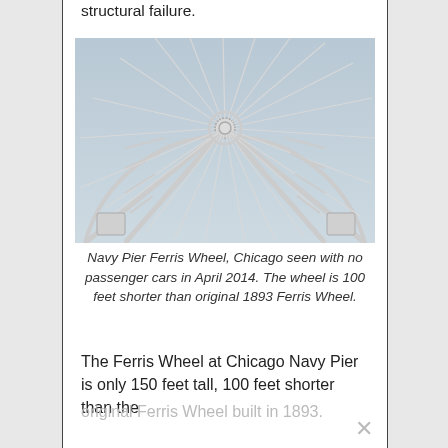structural failure.
[Figure (photo): Upward-looking photograph of the Navy Pier Ferris Wheel in Chicago, showing the white metal spokes and structural framework of the wheel against a light gray sky, with no passenger cars attached.]
Navy Pier Ferris Wheel, Chicago seen with no passenger cars in April 2014. The wheel is 100 feet shorter than original 1893 Ferris Wheel.
The Ferris Wheel at Chicago Navy Pier is only 150 feet tall, 100 feet shorter than the
original Ferris Wheel built in 1893.